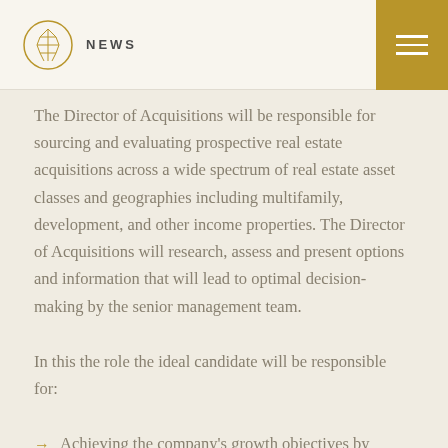NEWS
The Director of Acquisitions will be responsible for sourcing and evaluating prospective real estate acquisitions across a wide spectrum of real estate asset classes and geographies including multifamily, development, and other income properties. The Director of Acquisitions will research, assess and present options and information that will lead to optimal decision-making by the senior management team.
In this the role the ideal candidate will be responsible for:
Achieving the company's growth objectives by maintaining an active pipeline of acquisition opportunities with a wide variety of real estate owners and developers.